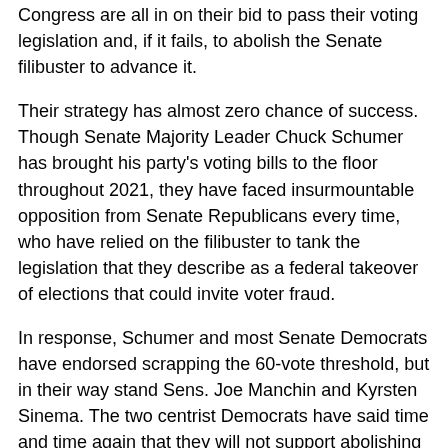Congress are all in on their bid to pass their voting legislation and, if it fails, to abolish the Senate filibuster to advance it.
Their strategy has almost zero chance of success. Though Senate Majority Leader Chuck Schumer has brought his party's voting bills to the floor throughout 2021, they have faced insurmountable opposition from Senate Republicans every time, who have relied on the filibuster to tank the legislation that they describe as a federal takeover of elections that could invite voter fraud.
In response, Schumer and most Senate Democrats have endorsed scrapping the 60-vote threshold, but in their way stand Sens. Joe Manchin and Kyrsten Sinema. The two centrist Democrats have said time and time again that they will not support abolishing the filibuster, denying Democrats the unanimous support they need to adopt the change even though they support their party's voting legislation.